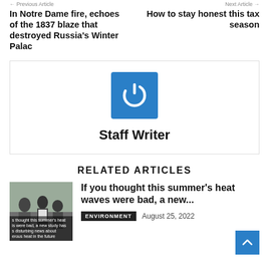In Notre Dame fire, echoes of the 1837 blaze that destroyed Russia's Winter Palac
How to stay honest this tax season
[Figure (logo): Blue square with white power button icon — Staff Writer avatar]
Staff Writer
RELATED ARTICLES
[Figure (photo): Photo of people, related to summer heat waves article]
If you thought this summer's heat waves were bad, a new...
ENVIRONMENT   August 25, 2022